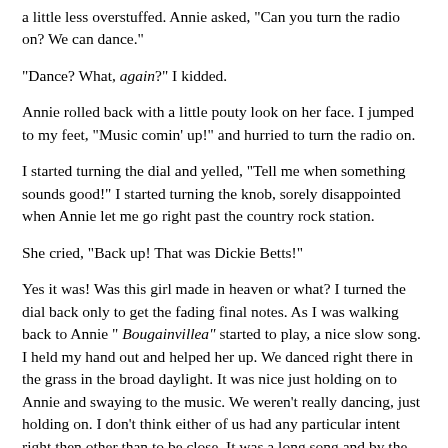a little less overstuffed. Annie asked, "Can you turn the radio on? We can dance."
"Dance? What, again?" I kidded.
Annie rolled back with a little pouty look on her face. I jumped to my feet, "Music comin' up!" and hurried to turn the radio on.
I started turning the dial and yelled, "Tell me when something sounds good!" I started turning the knob, sorely disappointed when Annie let me go right past the country rock station.
She cried, "Back up! That was Dickie Betts!"
Yes it was! Was this girl made in heaven or what? I turned the dial back only to get the fading final notes. As I was walking back to Annie " Bougainvillea" started to play, a nice slow song. I held my hand out and helped her up. We danced right there in the grass in the broad daylight. It was nice just holding on to Annie and swaying to the music. We weren't really dancing, just holding on. I don't think either of us had any particular intent right then other than to be close. It was a long song and by the time it ended we were kissing again.
We kept at it, not kissing passionately but enjoying ourselves for a little while. I loved Annie's company and being alone and so close